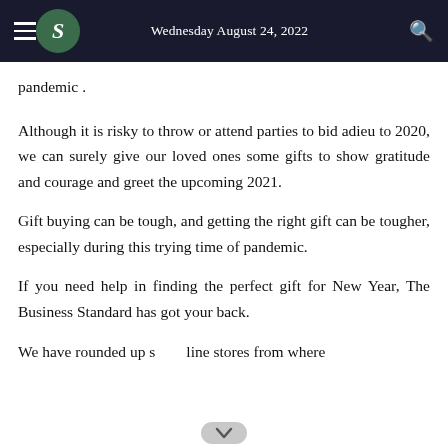Wednesday August 24, 2022
pandemic .
Although it is risky to throw or attend parties to bid adieu to 2020, we can surely give our loved ones some gifts to show gratitude and courage and greet the upcoming 2021.
Gift buying can be tough, and getting the right gift can be tougher, especially during this trying time of pandemic.
If you need help in finding the perfect gift for New Year, The Business Standard has got your back.
We have rounded up s… line stores from where